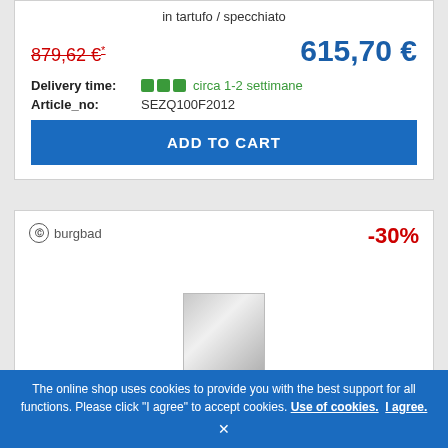in tartufo / specchiato
879,62 €* — old price (strikethrough)
615,70 € — new price
Delivery time: circa 1-2 settimane
Article_no: SEZQ100F2012
ADD TO CART
[Figure (logo): burgbad brand logo with circle icon]
-30%
[Figure (photo): Rectangular bathroom cabinet door panel in silver/mirror finish]
The online shop uses cookies to provide you with the best support for all functions. Please click "I agree" to accept cookies. Use of cookies. I agree. ×